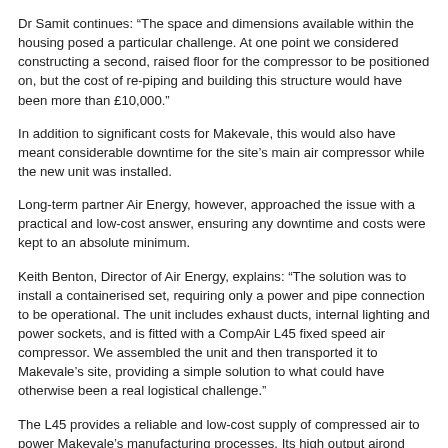Dr Samit continues: “The space and dimensions available within the housing posed a particular challenge. At one point we considered constructing a second, raised floor for the compressor to be positioned on, but the cost of re-piping and building this structure would have been more than £10,000.”
In addition to significant costs for Makevale, this would also have meant considerable downtime for the site’s main air compressor while the new unit was installed.
Long-term partner Air Energy, however, approached the issue with a practical and low-cost answer, ensuring any downtime and costs were kept to an absolute minimum.
Keith Benton, Director of Air Energy, explains: “The solution was to install a containerised set, requiring only a power and pipe connection to be operational. The unit includes exhaust ducts, internal lighting and power sockets, and is fitted with a CompAir L45 fixed speed air compressor. We assembled the unit and then transported it to Makevale’s site, providing a simple solution to what could have otherwise been a real logistical challenge.”
The L45 provides a reliable and low-cost supply of compressed air to power Makevale’s manufacturing processes. Its high output airond with slow rotational speed helps reduce energy